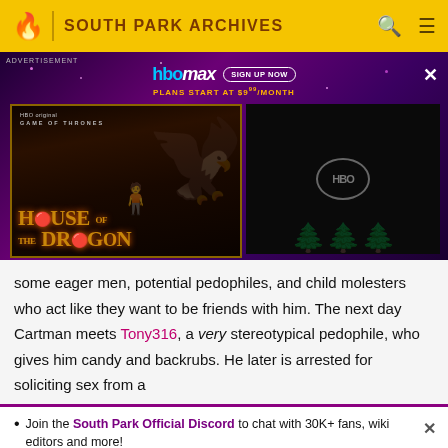SOUTH PARK ARCHIVES
[Figure (screenshot): HBO Max advertisement banner featuring House of the Dragon promotional image with purple starry background. Shows HBO max logo with 'SIGN UP NOW' button and 'PLANS START AT $9.99/MONTH' text. Left panel shows House of the Dragon movie poster, right panel shows HBO circular logo on dark background.]
some eager men, potential pedophiles, and child molesters who act like they want to be friends with him. The next day Cartman meets Tony316, a very stereotypical pedophile, who gives him candy and backrubs. He later is arrested for soliciting sex from a
Join the South Park Official Discord to chat with 30K+ fans, wiki editors and more!
South Park: The 25th Anniversary Concert is now out on Paramount Plus and Comedy Central.